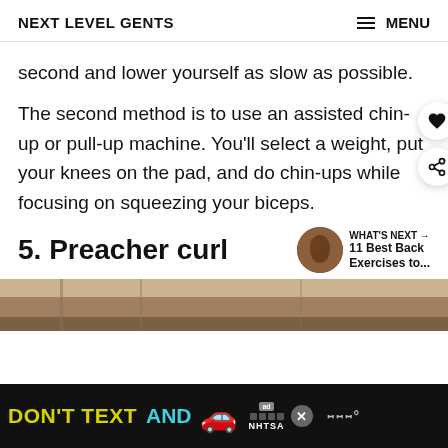NEXT LEVEL GENTS   MENU
second and lower yourself as slow as possible.
The second method is to use an assisted chin-up or pull-up machine. You'll select a weight, put your knees on the pad, and do chin-ups while focusing on squeezing your biceps.
5. Preacher curl
[Figure (photo): Partial view of a gym or workout area, cropped at bottom of visible page area]
[Figure (other): Advertisement banner: DON'T TEXT AND [car emoji] with NHTSA branding on black background]